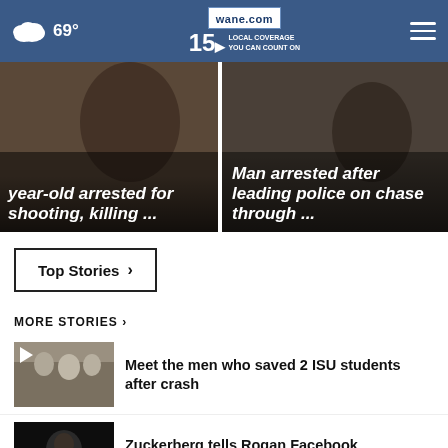69° wane.com 15 LOCAL COVERAGE YOU CAN COUNT ON
[Figure (photo): Dark photo with white bold text overlay: 'year-old arrested for shooting, killing ...']
[Figure (photo): Dark photo with white bold text overlay: 'Man arrested after leading police on chase through ...']
Top Stories ›
MORE STORIES ›
[Figure (photo): Thumbnail of men standing outside, with play icon. Story: Meet the men who saved 2 ISU students after crash]
Meet the men who saved 2 ISU students after crash
[Figure (photo): Dark thumbnail photo of man (Zuckerberg). Story: Zuckerberg tells Rogan Facebook suppressed Hunter …]
Zuckerberg tells Rogan Facebook suppressed Hunter …
[Figure (photo): Partially visible thumbnail at bottom of page]